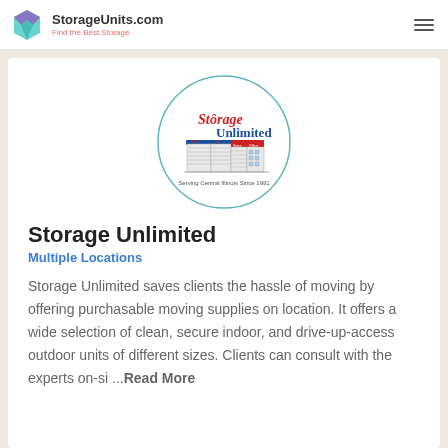StorageUnits.com — Find the Best Storage
[Figure (logo): Storage Unlimited circular logo with illustrated storage unit buildings, text 'Storage Unlimited' and 'Serving Central Illinois Since 1991']
Storage Unlimited
Multiple Locations
Storage Unlimited saves clients the hassle of moving by offering purchasable moving supplies on location. It offers a wide selection of clean, secure indoor, and drive-up-access outdoor units of different sizes. Clients can consult with the experts on-si ...Read More